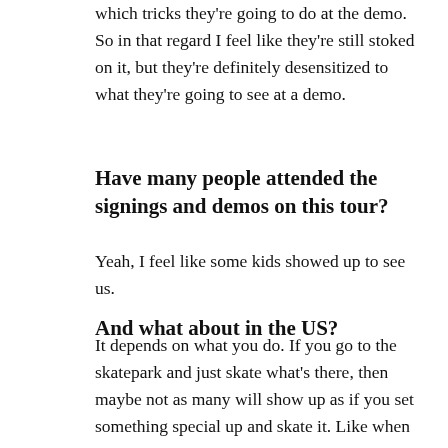which tricks they're going to do at the demo. So in that regard I feel like they're still stoked on it, but they're definitely desensitized to what they're going to see at a demo.
Have many people attended the signings and demos on this tour?
Yeah, I feel like some kids showed up to see us.
And what about in the US?
It depends on what you do. If you go to the skatepark and just skate what's there, then maybe not as many will show up as if you set something special up and skate it. Like when Jeremy Klein used to do the Hook-ups Stunt Tour. He brought the ramps in the van. So many kids showed up and it was really amazing. Kids were seeing something